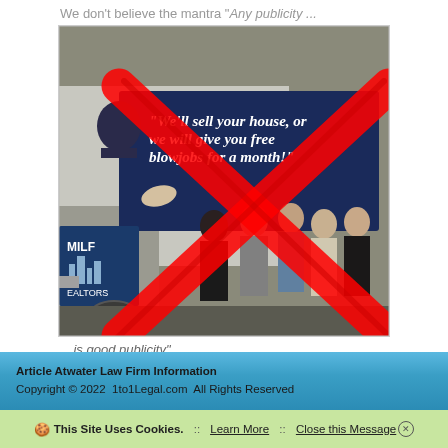We don't believe the mantra "Any publicity ...
[Figure (photo): A group photo of several women standing in front of a truck/van with a controversial real estate advertising billboard text. A large red X is overlaid on the image. The billboard reads: "We'll sell your house, or we will give you free blowjobs for a month!" and shows a sign for MILF REALTORS.]
... is good publicity".
Article Atwater Law Firm Information
Copyright © 2022  1to1Legal.com  All Rights Reserved
This Site Uses Cookies.  ::  Learn More  ::  Close this Message ⊗